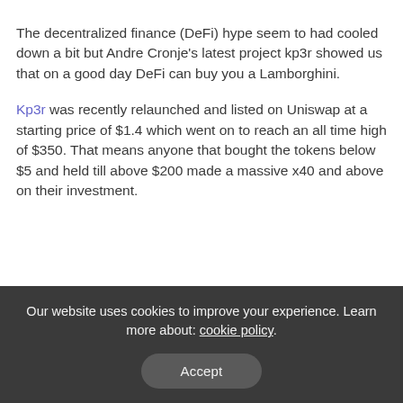The decentralized finance (DeFi) hype seem to had cooled down a bit but Andre Cronje's latest project kp3r showed us that on a good day DeFi can buy you a Lamborghini.
Kp3r was recently relaunched and listed on Uniswap at a starting price of $1.4 which went on to reach an all time high of $350. That means anyone that bought the tokens below $5 and held till above $200 made a massive x40 and above on their investment.
Our website uses cookies to improve your experience. Learn more about: cookie policy
Accept